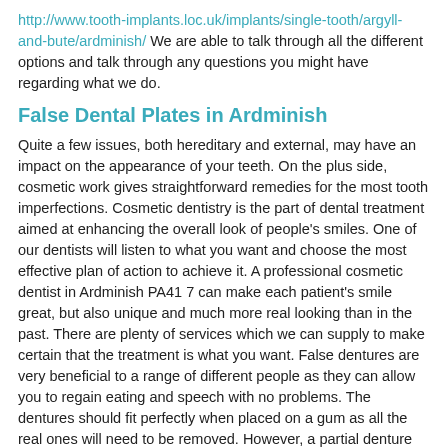http://www.tooth-implants.loc.uk/implants/single-tooth/argyll-and-bute/ardminish/ We are able to talk through all the different options and talk through any questions you might have regarding what we do.
False Dental Plates in Ardminish
Quite a few issues, both hereditary and external, may have an impact on the appearance of your teeth. On the plus side, cosmetic work gives straightforward remedies for the most tooth imperfections. Cosmetic dentistry is the part of dental treatment aimed at enhancing the overall look of people's smiles. One of our dentists will listen to what you want and choose the most effective plan of action to achieve it. A professional cosmetic dentist in Ardminish PA41 7 can make each patient's smile great, but also unique and much more real looking than in the past. There are plenty of services which we can supply to make certain that the treatment is what you want. False dentures are very beneficial to a range of different people as they can allow you to regain eating and speech with no problems. The dentures should fit perfectly when placed on a gum as all the real ones will need to be removed. However, a partial denture can be provided which only cover part of